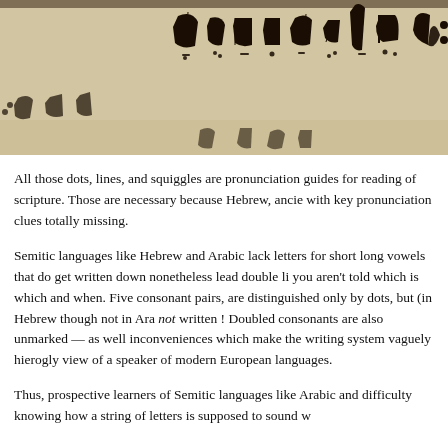[Figure (photo): Photograph of ancient Hebrew manuscript text showing vowel pointing (nikud) — dots, lines, and squiggles beneath and above dark Hebrew letters on a yellowed parchment background.]
All those dots, lines, and squiggles are pronunciation guides for reading of scripture. Those are necessary because Hebrew, ancie with key pronunciation clues totally missing.
Semitic languages like Hebrew and Arabic lack letters for short long vowels that do get written down nonetheless lead double li you aren't told which is which and when. Five consonant pairs, are distinguished only by dots, but (in Hebrew though not in Ara not written ! Doubled consonants are also unmarked — as well inconveniences which make the writing system vaguely hierogly view of a speaker of modern European languages.
Thus, prospective learners of Semitic languages like Arabic and difficulty knowing how a string of letters is supposed to sound w